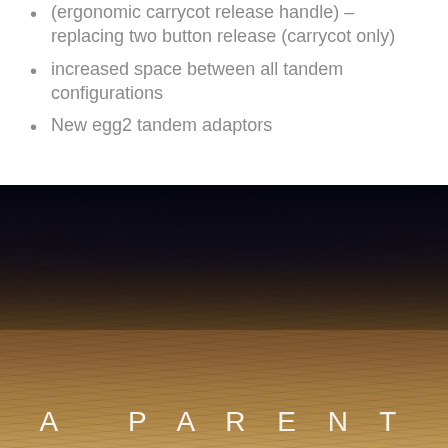(ergonomic carrycot release handle) – replacing two button release (carrycot only)
increased space between all tandem configurations
New egg2 tandem adaptors
[Figure (photo): Close-up photograph of a child's head with dark and blonde hair, with text 'A PARENT' overlaid at the bottom in white spaced letters]